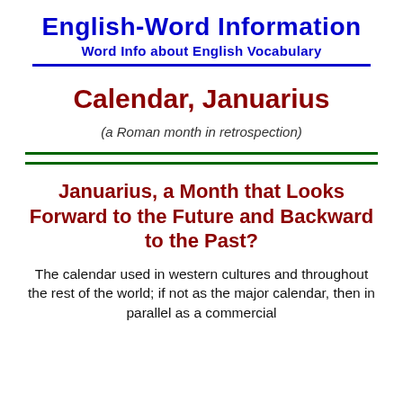English-Word Information
Word Info about English Vocabulary
Calendar, Januarius
(a Roman month in retrospection)
Januarius, a Month that Looks Forward to the Future and Backward to the Past?
The calendar used in western cultures and throughout the rest of the world; if not as the major calendar, then in parallel as a commercial